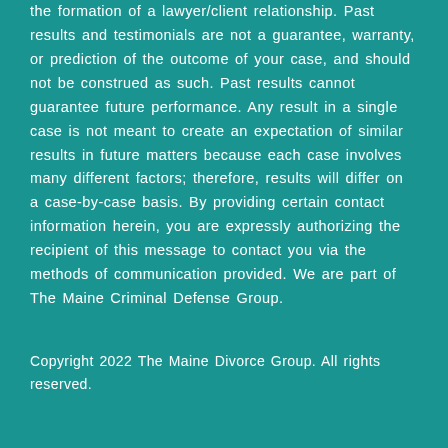the formation of a lawyer/client relationship. Past results and testimonials are not a guarantee, warranty, or prediction of the outcome of your case, and should not be construed as such. Past results cannot guarantee future performance. Any result in a single case is not meant to create an expectation of similar results in future matters because each case involves many different factors; therefore, results will differ on a case-by-case basis. By providing certain contact information herein, you are expressly authorizing the recipient of this message to contact you via the methods of communication provided. We are part of The Maine Criminal Defense Group.
Copyright 2022 The Maine Divorce Group. All rights reserved.